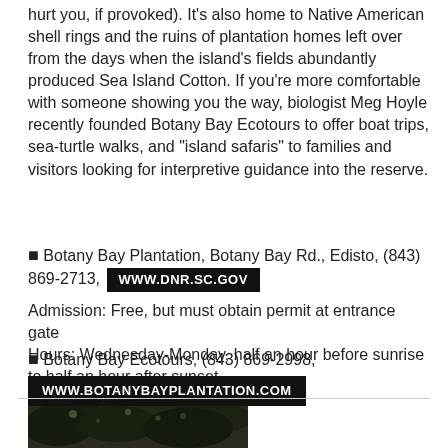hurt you, if provoked). It's also home to Native American shell rings and the ruins of plantation homes left over from the days when the island's fields abundantly produced Sea Island Cotton. If you're more comfortable with someone showing you the way, biologist Meg Hoyle recently founded Botany Bay Ecotours to offer boat trips, sea-turtle walks, and "island safaris" to families and visitors looking for interpretive guidance into the reserve.
■ Botany Bay Plantation, Botany Bay Rd., Edisto, (843) 869-2713, WWW.DNR.SC.GOV
Admission: Free, but must obtain permit at entrance gate
Hours: Wednesday-Monday, half an hour before sunrise to half an hour after sunset
■ Botany Bay Ecotours, (843) 869-2998, WWW.BOTANYBAYPLANTATION.COM
[Figure (photo): Partial photo of trees/foliage visible at bottom of page]